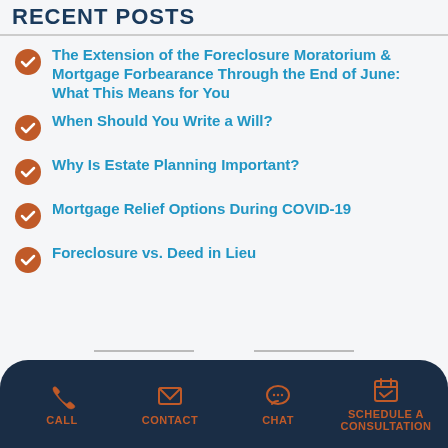RECENT POSTS
The Extension of the Foreclosure Moratorium & Mortgage Forbearance Through the End of June: What This Means for You
When Should You Write a Will?
Why Is Estate Planning Important?
Mortgage Relief Options During COVID-19
Foreclosure vs. Deed in Lieu
CALL | CONTACT | CHAT | SCHEDULE A CONSULTATION